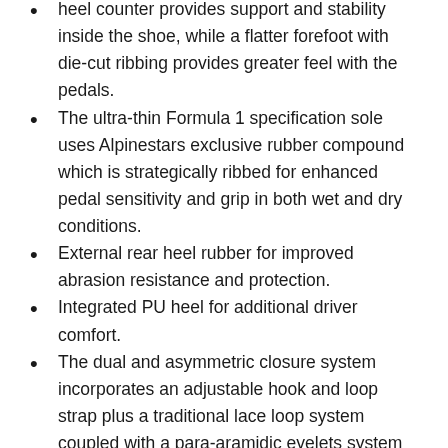heel counter provides support and stability inside the shoe, while a flatter forefoot with die-cut ribbing provides greater feel with the pedals.
The ultra-thin Formula 1 specification sole uses Alpinestars exclusive rubber compound which is strategically ribbed for enhanced pedal sensitivity and grip in both wet and dry conditions.
External rear heel rubber for improved abrasion resistance and protection.
Integrated PU heel for additional driver comfort.
The dual and asymmetric closure system incorporates an adjustable hook and loop strap plus a traditional lace loop system coupled with a para-aramidic eyelets system for enhanced durability, as well as a more personalized fit and a secure closure.
The collar is cut lower at the rear to allow for greater Achilles' heel comfort and an improved range of